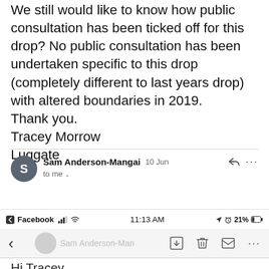We still would like to know how public consultation has been ticked off for this drop? No public consultation has been undertaken specific to this drop (completely different to last years drop) with altered boundaries in 2019. Thank you.
Tracey Morrow
Luggate
[Figure (screenshot): Email message header showing sender Sam Anderson-Mangai, date 10 Jun, reply and more options icons, and 'to me' recipient line, as seen in a mobile email app]
[Figure (screenshot): Mobile phone status bar showing Facebook app back button, signal bars, WiFi icon, time 11:13 AM, location icon, alarm icon, 21% battery]
[Figure (screenshot): Mobile email app navigation bar with back arrow, faded sender name Sam Anderson-Mangai, download, trash, compose, and more options icons]
Hi Tracey